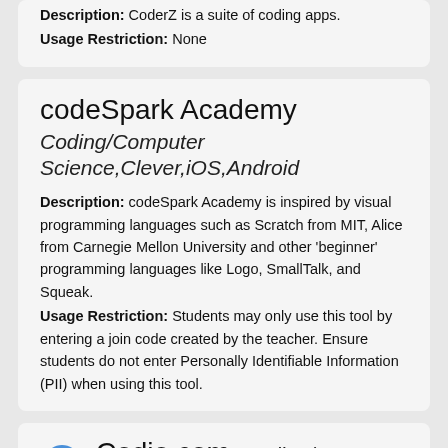Description: CoderZ is a suite of coding apps. Usage Restriction: None
codeSpark Academy
Coding/Computer Science,Clever,iOS,Android
Description: codeSpark Academy is inspired by visual programming languages such as Scratch from MIT, Alice from Carnegie Mellon University and other 'beginner' programming languages like Logo, SmallTalk, and Squeak.
Usage Restriction: Students may only use this tool by entering a join code created by the teacher. Ensure students do not enter Personally Identifiable Information (PII) when using this tool.
Codio.com
Coding/Computer